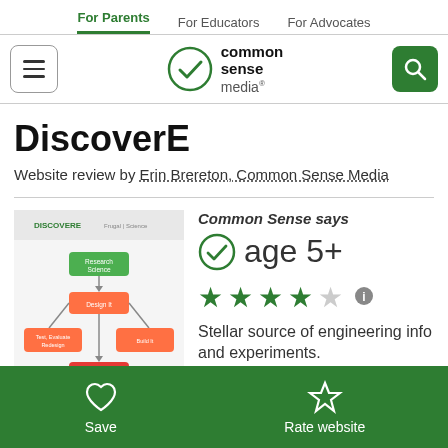For Parents | For Educators | For Advocates
[Figure (logo): Common Sense Media logo with green checkmark and hamburger menu and search button]
DiscoverE
Website review by Erin Brereton, Common Sense Media
[Figure (screenshot): Thumbnail screenshot of DiscoverE website showing engineering design process flowchart]
Common Sense says
age 5+
[Figure (other): 4 out of 5 stars rating with info icon]
Stellar source of engineering info and experiments.
Save | Rate website